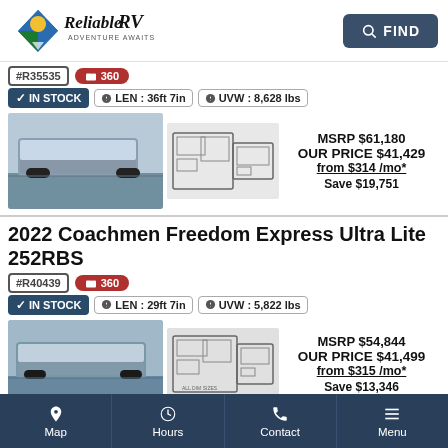[Figure (logo): Reliable RV Adventure Awaits logo with sun/mountain/road diamond icon]
FIND (search button)
#R35535 | 360
✓ IN STOCK  ⓘ LEN : 36ft 7in  ⓘ UVW : 8,628 lbs
[Figure (photo): Travel trailer exterior photo]
[Figure (schematic): RV floor plan schematic]
MSRP $61,180
OUR PRICE $41,429
from $314 /mo*
Save $19,751
2022 Coachmen Freedom Express Ultra Lite 252RBS
#R40439 | 360
✓ IN STOCK  ⓘ LEN : 29ft 7in  ⓘ UVW : 5,822 lbs
[Figure (photo): Second travel trailer exterior photo]
[Figure (schematic): Second RV floor plan schematic]
MSRP $54,844
OUR PRICE $41,499
from $315 /mo*
Save $13,346
Map | Hours | Contact | Menu